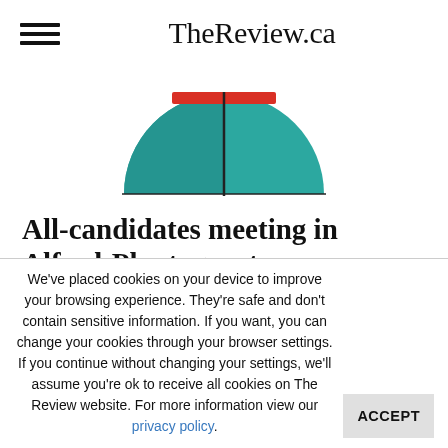TheReview.ca
[Figure (illustration): A semicircular donut/gauge chart illustration in teal/cyan color with a small red bar at the top and a dark vertical dividing line in the center, used as article header image]
All-candidates meeting in Alfred-Plantagenet on October...
We've placed cookies on your device to improve your browsing experience. They're safe and don't contain sensitive information. If you want, you can change your cookies through your browser settings. If you continue without changing your settings, we'll assume you're ok to receive all cookies on The Review website. For more information view our privacy policy.